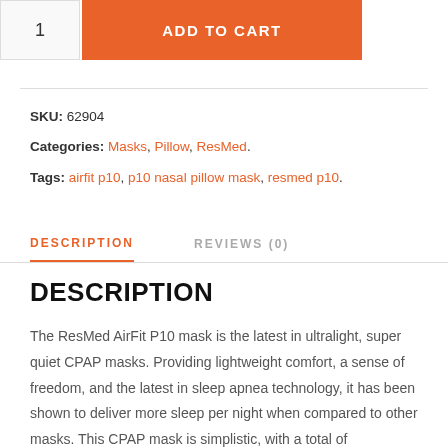1  ADD TO CART
SKU: 62904
Categories: Masks, Pillow, ResMed.
Tags: airfit p10, p10 nasal pillow mask, resmed p10.
DESCRIPTION
REVIEWS (0)
DESCRIPTION
The ResMed AirFit P10 mask is the latest in ultralight, super quiet CPAP masks. Providing lightweight comfort, a sense of freedom, and the latest in sleep apnea technology, it has been shown to deliver more sleep per night when compared to other masks. This CPAP mask is simplistic, with a total of